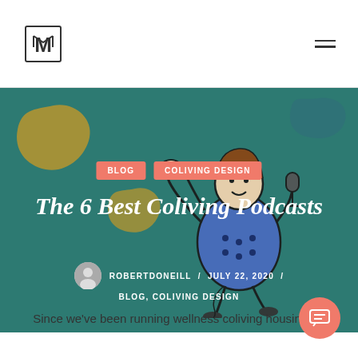[Figure (illustration): Hero banner with teal background, decorative gold and blue blobs, illustrated cartoon character holding a microphone, dancing/gesturing]
BLOG
COLIVING DESIGN
The 6 Best Coliving Podcasts
ROBERTDONEILL  /  JULY 22, 2020  /
BLOG, COLIVING DESIGN
Since we've been running wellness coliving housing for